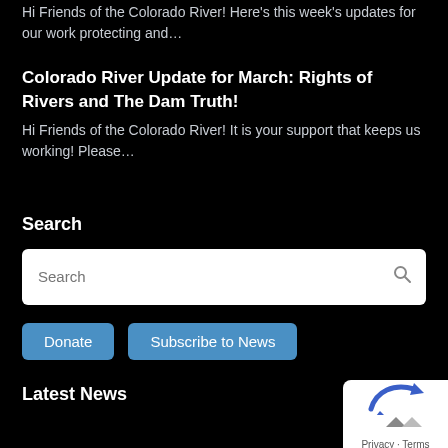Hi Friends of the Colorado River! Here's this week's updates for our work protecting and…
Colorado River Update for March: Rights of Rivers and The Dam Truth!
Hi Friends of the Colorado River! It is your support that keeps us working! Please…
Search
Search
Donate
Subscribe to News
Latest News